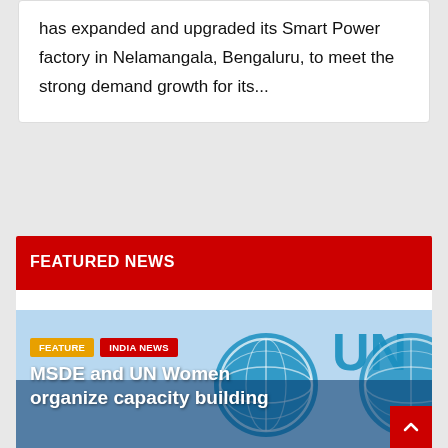has expanded and upgraded its Smart Power factory in Nelamangala, Bengaluru, to meet the strong demand growth for its...
FEATURED NEWS
[Figure (illustration): UN Women logo with globe emblem and 'UN' text in blue, used as background for a featured news card. Tags 'FEATURE' (orange) and 'INDIA NEWS' (red) overlay the image. Partial article title 'MSDE and UN Women organize capacity building' appears in white text at the bottom.]